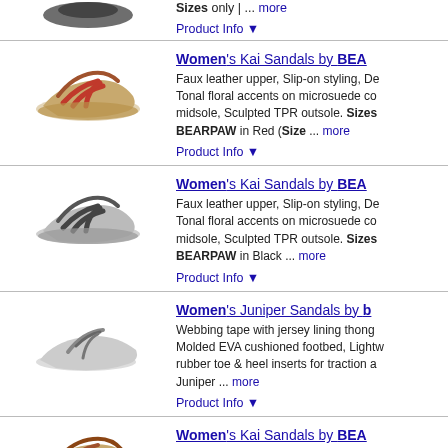Sizes only | ... more
Product Info ▼
Women's Kai Sandals by BEARPAW
[Figure (photo): Red women's sandal - Kai Sandals by BEARPAW in Red]
Faux leather upper, Slip-on styling, De... Tonal floral accents on microsuede co... midsole, Sculpted TPR outsole. Sizes BEARPAW in Red (Size ... more
Product Info ▼
Women's Kai Sandals by BEARPAW
[Figure (photo): Black women's sandal - Kai Sandals by BEARPAW in Black]
Faux leather upper, Slip-on styling, De... Tonal floral accents on microsuede co... midsole, Sculpted TPR outsole. Sizes BEARPAW in Black ... more
Product Info ▼
Women's Juniper Sandals by B...
[Figure (photo): Grey women's thong sandal - Juniper Sandals]
Webbing tape with jersey lining thong ... Molded EVA cushioned footbed, Lightw... rubber toe & heel inserts for traction a... Juniper ... more
Product Info ▼
Women's Kai Sandals by BEARPAW
[Figure (photo): Brown/multi women's sandal - Kai Sandals by BEARPAW]
Faux leather upper, Slip-on styling, De... Tonal floral accents on microsuede co... Sculpted TPR outsole. Size...